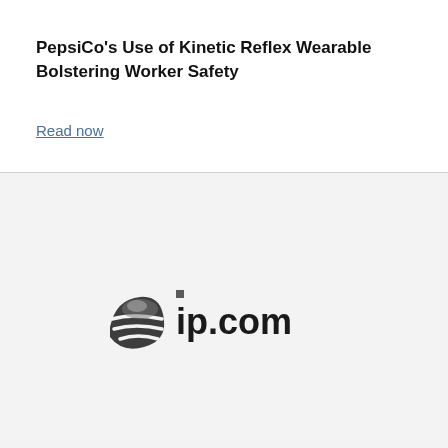PepsiCo’s Use of Kinetic Reflex Wearable Bolstering Worker Safety
Read now
[Figure (logo): ip.com logo — a stylized globe/hemisphere icon in dark gray followed by the text 'ip.com' in bold dark gray/black sans-serif font]